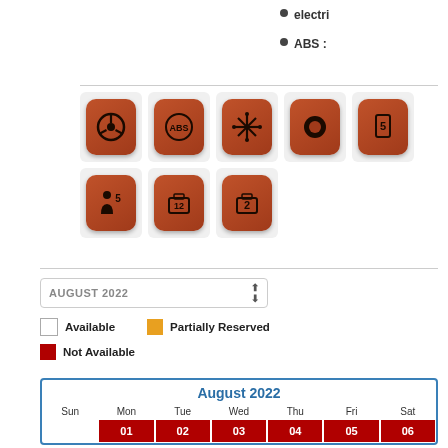electric
ABS :
[Figure (infographic): Row of 5 red rounded-square icons: steering wheel, ABS, snowflake/frost, circle/speaker, phone with number 5. Second row of 3 icons: person with 5, suitcase with 12, suitcase with 2.]
AUGUST 2022 (dropdown selector)
Available   Partially Reserved   Not Available
| Sun | Mon | Tue | Wed | Thu | Fri | Sat |
| --- | --- | --- | --- | --- | --- | --- |
|  | 01 | 02 | 03 | 04 | 05 | 06 |